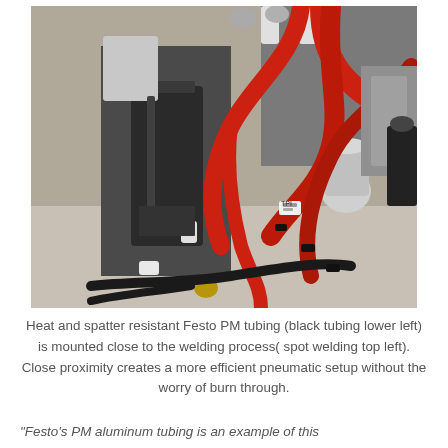[Figure (photo): Close-up photograph of industrial welding/pneumatic equipment showing black Festo PM tubing in lower left, red hydraulic/pneumatic hoses, metal cylinders, fittings, and components mounted on a gray surface. A spot welding apparatus is visible in the upper left.]
Heat and spatter resistant Festo PM tubing (black tubing lower left) is mounted close to the welding process( spot welding top left). Close proximity creates a more efficient pneumatic setup without the worry of burn through.
"Festo's PM aluminum tubing is an example of this